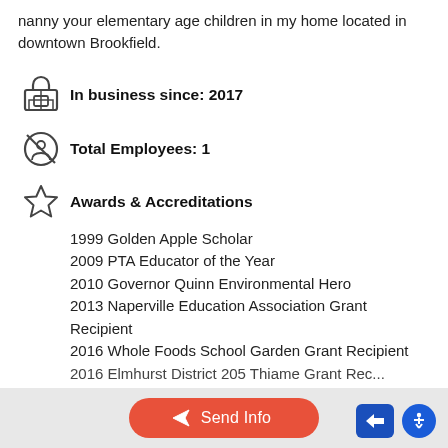nanny your elementary age children in my home located in downtown Brookfield.
In business since: 2017
Total Employees: 1
Awards & Accreditations
1999 Golden Apple Scholar
2009 PTA Educator of the Year
2010 Governor Quinn Environmental Hero
2013 Naperville Education Association Grant Recipient
2016 Whole Foods School Garden Grant Recipient
2016 Elmhurst District 205 Thiame Grant Rec...